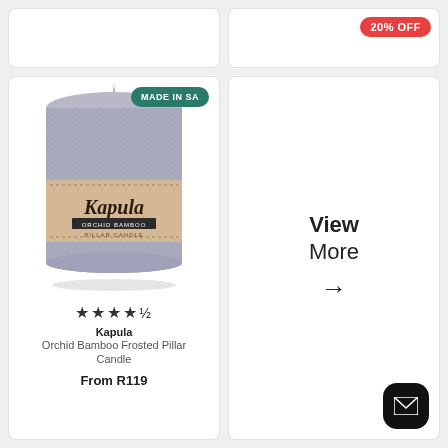[Figure (other): Partial product card cropped at top, white background]
[Figure (other): Product card with red 20% OFF badge in top right corner]
[Figure (photo): Kapula Orchid Bamboo Frosted Pillar Candle - grey textured candle with kraft paper label reading 'Kapula ORCHID BAMBOO PILLAR CANDLE'. Green 'MADE IN SA' badge in top right.]
★★★★½
Kapula
Orchid Bamboo Frosted Pillar Candle
From R119
View More →